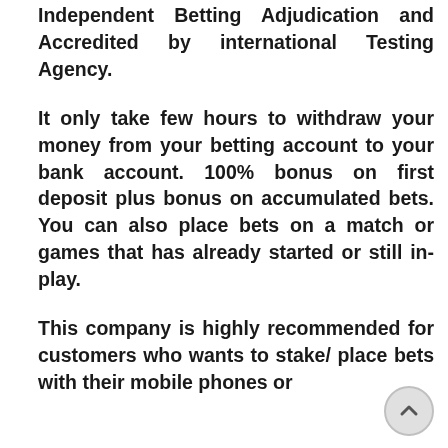Independent Betting Adjudication and Accredited by international Testing Agency.
It only take few hours to withdraw your money from your betting account to your bank account. 100% bonus on first deposit plus bonus on accumulated bets. You can also place bets on a match or games that has already started or still in-play.
This company is highly recommended for customers who wants to stake/ place bets with their mobile phones or